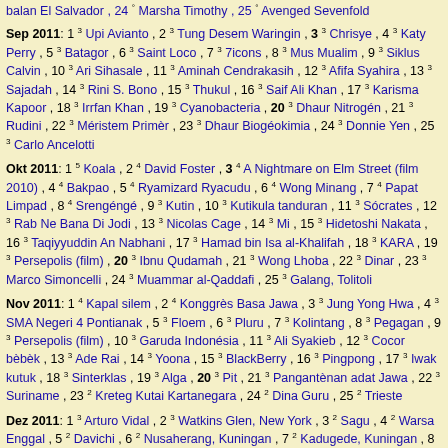balan El Salvador , 24 ° Marsha Timothy , 25 ° Avenged Sevenfold
Sep 2011: 1 3 Upi Avianto , 2 3 Tung Desem Waringin , 3 3 Chrisye , 4 3 Katy Perry , 5 3 Batagor , 6 3 Saint Loco , 7 3 7icons , 8 3 Mus Mualim , 9 3 Siklus Calvin , 10 3 Ari Sihasale , 11 3 Aminah Cendrakasih , 12 3 Afifa Syahira , 13 3 Sajadah , 14 3 Rini S. Bono , 15 3 Thukul , 16 3 Saif Ali Khan , 17 3 Karisma Kapoor , 18 3 Irrfan Khan , 19 3 Cyanobacteria , 20 3 Dhaur Nitrogén , 21 3 Rudini , 22 3 Méristem Primèr , 23 3 Dhaur Biogéokimia , 24 3 Donnie Yen , 25 3 Carlo Ancelotti
Okt 2011: 1 5 Koala , 2 4 David Foster , 3 4 A Nightmare on Elm Street (film 2010) , 4 4 Bakpao , 5 4 Ryamizard Ryacudu , 6 4 Wong Minang , 7 4 Papat Limpad , 8 4 Srengéngé , 9 3 Kutin , 10 3 Kutikula tanduran , 11 3 Sócrates , 12 3 Rab Ne Bana Di Jodi , 13 3 Nicolas Cage , 14 3 Mi , 15 3 Hidetoshi Nakata , 16 3 Taqiyyuddin An Nabhani , 17 3 Hamad bin Isa al-Khalifah , 18 3 KARA , 19 3 Persepolis (film) , 20 3 Ibnu Qudamah , 21 3 Wong Lhoba , 22 3 Dinar , 23 3 Marco Simoncelli , 24 3 Muammar al-Qaddafi , 25 3 Galang, Tolitoli
Nov 2011: 1 4 Kapal silem , 2 4 Konggrès Basa Jawa , 3 3 Jung Yong Hwa , 4 3 SMA Negeri 4 Pontianak , 5 3 Floem , 6 3 Pluru , 7 3 Kolintang , 8 3 Pegagan , 9 3 Persepolis (film) , 10 3 Garuda Indonésia , 11 3 Ali Syakieb , 12 3 Cocor bèbèk , 13 3 Ade Rai , 14 3 Yoona , 15 3 BlackBerry , 16 3 Pingpong , 17 3 Iwak kutuk , 18 3 Sinterklas , 19 3 Alga , 20 3 Pit , 21 3 Pangantènan adat Jawa , 22 3 Suriname , 23 2 Kreteg Kutai Kartanegara , 24 2 Dina Guru , 25 2 Trieste
Dez 2011: 1 3 Arturo Vidal , 2 3 Watkins Glen, New York , 3 2 Sagu , 4 2 Warsa Enggal , 5 2 Davichi , 6 2 Nusaherang, Kuningan , 7 2 Kadugede, Kuningan , 8 2 Pulo Batanta , 9 2 Kamus Jawa Kuna-Indonésia (Zoetmulder) , 10 2 Dom